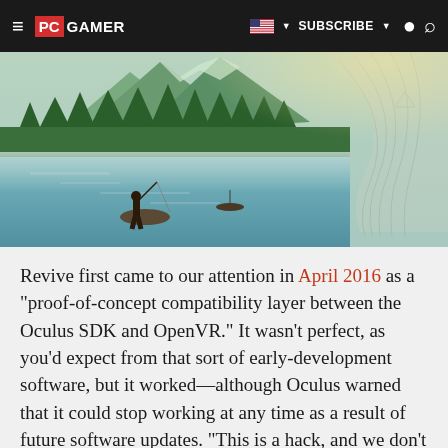PC GAMER | SUBSCRIBE | Search
[Figure (photo): A silhouetted person fishing on a rock by a misty lake with forested mountains in the background, with a topographic map outline visible on the right side.]
Revive first came to our attention in April 2016 as a "proof-of-concept compatibility layer between the Oculus SDK and OpenVR." It wasn't perfect, as you'd expect from that sort of early-development software, but it worked—although Oculus warned that it could stop working at any time as a result of future software updates. "This is a hack, and we don't condone it," a rep said.